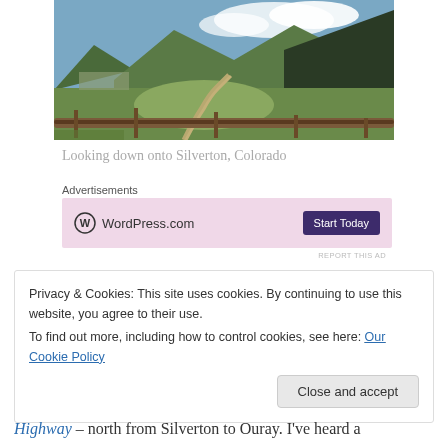[Figure (photo): Aerial view looking down a mountain valley onto Silverton, Colorado, with a winding river and road visible between green forested slopes, and a guardrail in the foreground.]
Looking down onto Silverton, Colorado
Advertisements
[Figure (other): WordPress.com advertisement banner with pink background, WordPress logo on left, and purple 'Start Today' button on right.]
REPORT THIS AD
Privacy & Cookies: This site uses cookies. By continuing to use this website, you agree to their use.
To find out more, including how to control cookies, see here: Our Cookie Policy
Close and accept
Highway – north from Silverton to Ouray.  I've heard a